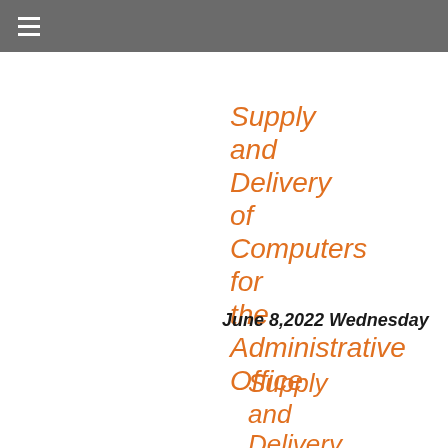≡
Supply and Delivery of Computers for the Administrative Office
June 8,2022 Wednesday
Supply and Delivery